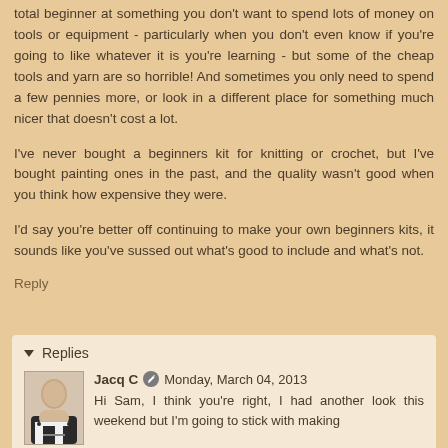total beginner at something you don't want to spend lots of money on tools or equipment - particularly when you don't even know if you're going to like whatever it is you're learning - but some of the cheap tools and yarn are so horrible! And sometimes you only need to spend a few pennies more, or look in a different place for something much nicer that doesn't cost a lot.
I've never bought a beginners kit for knitting or crochet, but I've bought painting ones in the past, and the quality wasn't good when you think how expensive they were.
I'd say you're better off continuing to make your own beginners kits, it sounds like you've sussed out what's good to include and what's not.
Reply
Replies
Jacq C  Monday, March 04, 2013
Hi Sam, I think you're right, I had another look this weekend but I'm going to stick with making